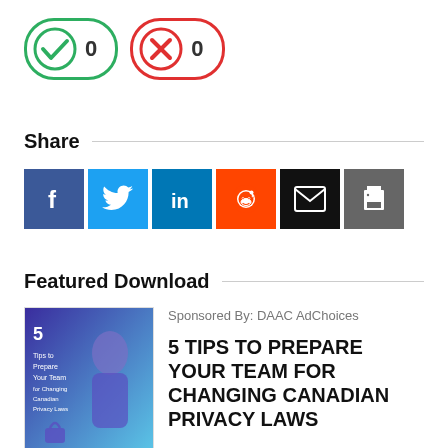[Figure (other): Vote buttons: green checkmark circle with count 0, and red X circle with count 0]
Share
[Figure (infographic): Social share buttons: Facebook (blue), Twitter (light blue), LinkedIn (dark blue), Reddit (orange), Email (black), Print (dark gray)]
Featured Download
[Figure (photo): Book cover image: 5 Tips to Prepare Your Team for Changing Canadian Privacy Laws, purple/blue gradient with person in glasses]
Sponsored By: DAAC AdChoices
5 TIPS TO PREPARE YOUR TEAM FOR CHANGING CANADIAN PRIVACY LAWS